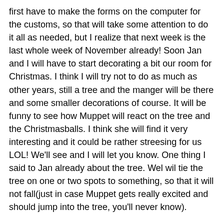first have to make the forms on the computer for the customs, so that will take some attention to do it all as needed, but I realize that next week is the last whole week of November already! Soon Jan and I will have to start decorating a bit our room for Christmas. I think I will try not to do as much as other years, still a tree and the manger will be there and some smaller decorations of course. It will be funny to see how Muppet will react on the tree and the Christmasballs. I think she will find it very interesting and it could be rather streesing for us LOL! We'll see and I will let you know. One thing I said to Jan already about the tree. Wel wil tie the tree on one or two spots to something, so that it will not fall(just in case Muppet gets really excited and should jump into the tree, you'll never know).
Good, that's it for this week, not much but nice to be able to say we are more or less okay, no disturbing things happened, and that's already wonderful to write. We still have that partial lockdown going on. We will have that for 2 weeks more and who knows what will be decided then. It is a difficult situation and I believe in many countries. No, that Covid isn't a nice thing. But we will survive it somehow, we